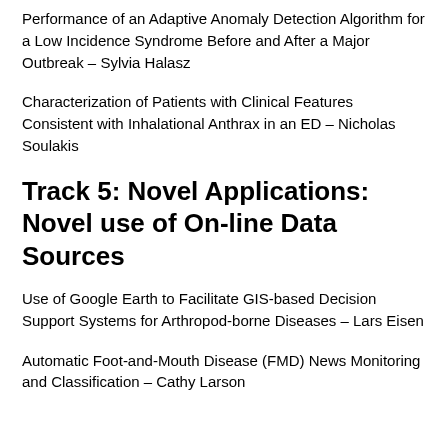Performance of an Adaptive Anomaly Detection Algorithm for a Low Incidence Syndrome Before and After a Major Outbreak – Sylvia Halasz
Characterization of Patients with Clinical Features Consistent with Inhalational Anthrax in an ED – Nicholas Soulakis
Track 5: Novel Applications: Novel use of On-line Data Sources
Use of Google Earth to Facilitate GIS-based Decision Support Systems for Arthropod-borne Diseases – Lars Eisen
Automatic Foot-and-Mouth Disease (FMD) News Monitoring and Classification – Cathy Larson